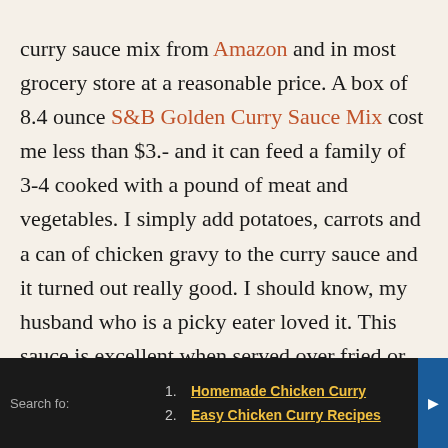curry sauce mix from Amazon and in most grocery store at a reasonable price. A box of 8.4 ounce S&B Golden Curry Sauce Mix cost me less than $3.- and it can feed a family of 3-4 cooked with a pound of meat and vegetables. I simply add potatoes, carrots and a can of chicken gravy to the curry sauce and it turned out really good. I should know, my husband who is a picky eater loved it. This sauce is excellent when served over fried or grilled meat over rice.
1. Homemade Chicken Curry
2. Easy Chicken Recipes